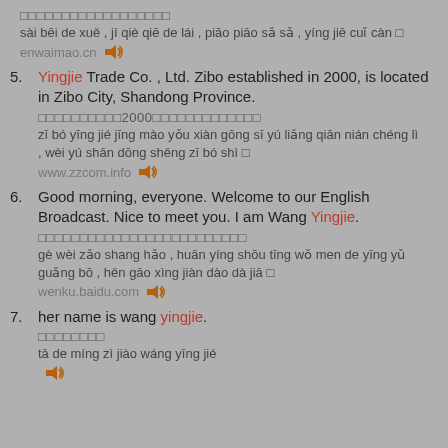□□□□□□□□□□□□□□□□□□
sài bēi de xuě , jí qiè qiē de lái , piāo piāo sǎ sǎ , yíng jiē cuǐ càn □
enwaimao.cn 🔊
5. Yingjie Trade Co. , Ltd. Zibo established in 2000, is located in Zibo City, Shandong Province.
□□□□□□□□□□2000□□□□□□□□□□□□□
zī bó yīng jié jīng mào yǒu xiàn gōng sī yú liǎng qiān nián chéng lì , wèi yú shān dōng shěng zī bó shì □
www.zzcom.info 🔊
6. Good morning, everyone. Welcome to our English Broadcast. Nice to meet you. I am Wang Yingjie.
□□□□□□□□□□□□□□□□□□□□□□□□□
gè wèi zǎo shang hǎo , huān yíng shōu tīng wǒ men de yīng yǔ guǎng bō , hěn gāo xìng jiàn dào dà jiā □
wenku.baidu.com 🔊
7. her name is wang yingjie.
□□□□□□□□
tā de míng zì jiào wáng yīng jié